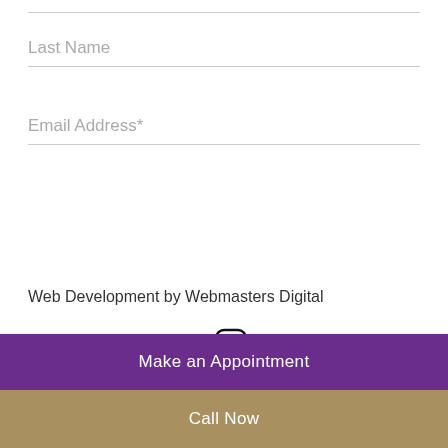Last Name
Email Address*
Subscribe
Web Development by Webmasters Digital
[Figure (infographic): Social media icons: Twitter, Facebook, LinkedIn, Tumblr, Instagram]
Make an Appointment
Call Now